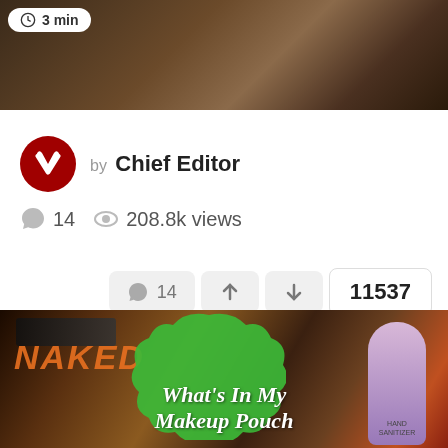[Figure (photo): Top photo of makeup/cosmetic products on dark background with a '3 min' time badge overlay]
by Chief Editor
💬 14   👁 208.8k views
💬 14   ↑   ↓   11537
[Figure (photo): Bottom photo showing makeup pouch with Urban Decay Naked palette, Matte product, hand sanitizer, and other cosmetics. Green decorative blob overlay with text 'What's In My Makeup Pouch']